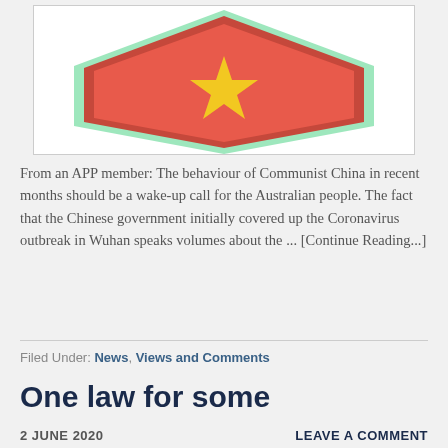[Figure (illustration): Partial view of a stop sign illustration with Chinese Communist Party imagery — red background with yellow star, hexagonal shape with green/red border, white outer background]
From an APP member: The behaviour of Communist China in recent months should be a wake-up call for the Australian people. The fact that the Chinese government initially covered up the Coronavirus outbreak in Wuhan speaks volumes about the ... [Continue Reading...]
Filed Under: News, Views and Comments
One law for some
2 JUNE 2020
LEAVE A COMMENT
[Figure (photo): Bottom portion of a photo, partially visible, showing outdoor scene with blue sky and trees]